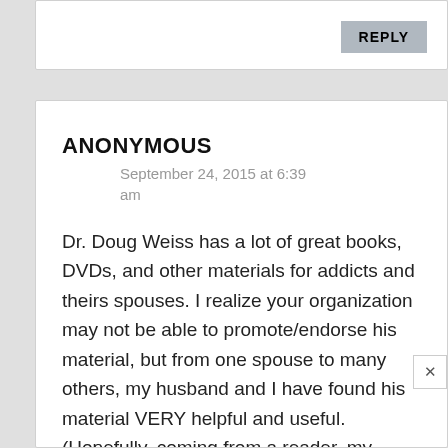REPLY
ANONYMOUS
September 24, 2015 at 6:39 am
Dr. Doug Weiss has a lot of great books, DVDs, and other materials for addicts and theirs spouses. I realize your organization may not be able to promote/endorse his material, but from one spouse to many others, my husband and I have found his material VERY helpful and useful. (Hopefully, coming from a reader, my comment can stay!) We were first introduced to Dr. Weiss through a church group for men that my husband participated in. You're right, not all men look at porn, but the